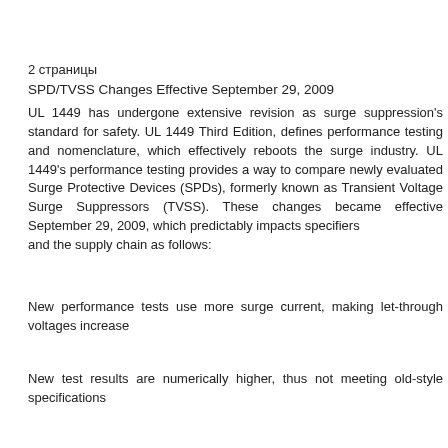2 страницы
SPD/TVSS Changes Effective September 29, 2009
UL 1449 has undergone extensive revision as surge suppression's standard for safety. UL 1449 Third Edition, defines performance testing and nomenclature, which effectively reboots the surge industry. UL 1449's performance testing provides a way to compare newly evaluated Surge Protective Devices (SPDs), formerly known as Transient Voltage Surge Suppressors (TVSS). These changes became effective September 29, 2009, which predictably impacts specifiers and the supply chain as follows:
New performance tests use more surge current, making let-through voltages increase
New test results are numerically higher, thus not meeting old-style specifications